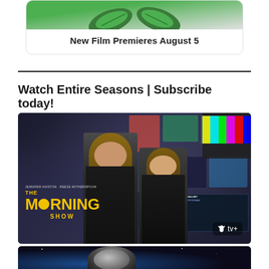[Figure (illustration): Promotional card for a new film with leaf/plant imagery at the top and a white card background]
New Film Premieres August 5
Watch Entire Seasons | Subscribe today!
[Figure (photo): The Morning Show promotional image on Apple TV+ featuring Jennifer Aniston and Reese Witherspoon in black outfits against a backdrop of TV screens. Logo shows THE MORNING SHOW in yellow text with Apple TV+ branding.]
[Figure (photo): Partial view of a second promotional card with dark space/sci-fi imagery at the bottom of the page]